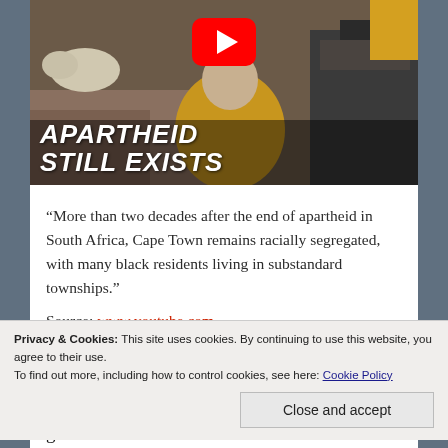[Figure (screenshot): YouTube video thumbnail showing a person in a yellow shirt in a township setting, with bold italic white text overlay reading 'APARTHEID STILL EXISTS' and a YouTube play button icon at the top center.]
“More than two decades after the end of apartheid in South Africa, Cape Town remains racially segregated, with many black residents living in substandard townships.”
Source: www.youtube.com
The title is a bit inflammatory–news agencies may pretend that they aren’t in the...
Privacy & Cookies: This site uses cookies. By continuing to use this website, you agree to their use.
To find out more, including how to control cookies, see here: Cookie Policy
Close and accept
generation and the racial differences in